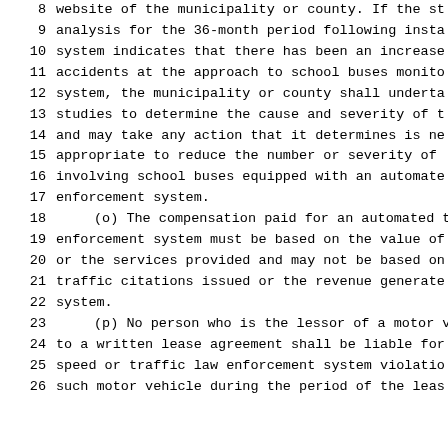8   website of the municipality or county. If the st
9   analysis for the 36-month period following insta
10  system indicates that there has been an increase
11  accidents at the approach to school buses monito
12  system, the municipality or county shall underta
13  studies to determine the cause and severity of t
14  and may take any action that it determines is ne
15  appropriate to reduce the number or severity of
16  involving school buses equipped with an automate
17  enforcement system.
18      (o) The compensation paid for an automated t
19  enforcement system must be based on the value of
20  or the services provided and may not be based on
21  traffic citations issued or the revenue generate
22  system.
23      (p) No person who is the lessor of a motor v
24  to a written lease agreement shall be liable for
25  speed or traffic law enforcement system violatio
26  such motor vehicle during the period of the leas